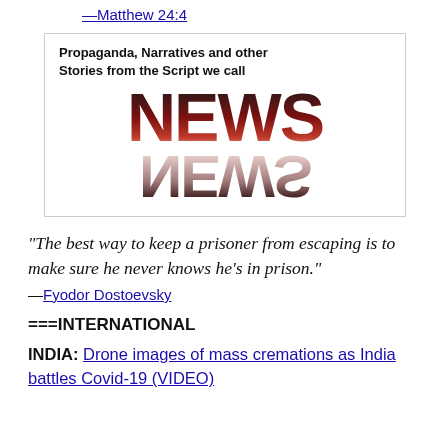—Matthew 24:4
[Figure (illustration): Book or blog cover graphic reading 'Propaganda, Narratives and other Stories from the Script we call NEWS' with the word NEWS in large bold dark-red metallic letters and a mirror reflection of NEWS below it.]
“The best way to keep a prisoner from escaping is to make sure he never knows he’s in prison.”
—Fyodor Dostoevsky
===INTERNATIONAL
INDIA: Drone images of mass cremations as India battles Covid-19 (VIDEO)